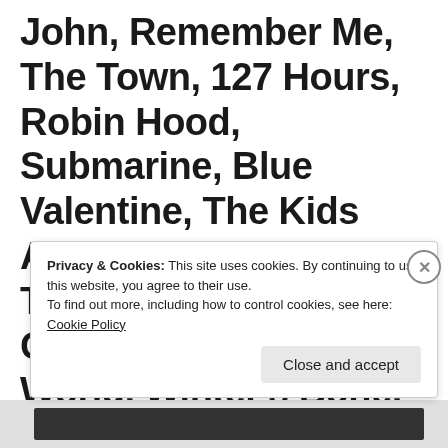John, Remember Me, The Town, 127 Hours, Robin Hood, Submarine, Blue Valentine, The Kids Are All Right, All Good Things, Let Me In, True Grit, Cyrus, In A Better World, Winter's Bone, Trust, Charlie St. Cloud, The Way Back, Animal
Privacy & Cookies: This site uses cookies. By continuing to use this website, you agree to their use.
To find out more, including how to control cookies, see here: Cookie Policy
Close and accept